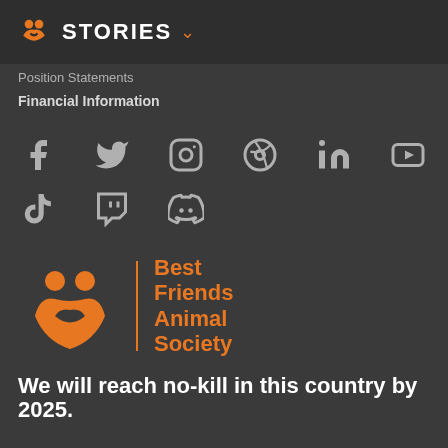STORIES
Position Statements
Financial Information
[Figure (other): Social media icons row 1: Facebook, Twitter, Instagram, Pinterest, LinkedIn, YouTube]
[Figure (other): Social media icons row 2: TikTok, Twitch, Discord]
[Figure (logo): Best Friends Animal Society logo with orange icon and text]
We will reach no-kill in this country by 2025.